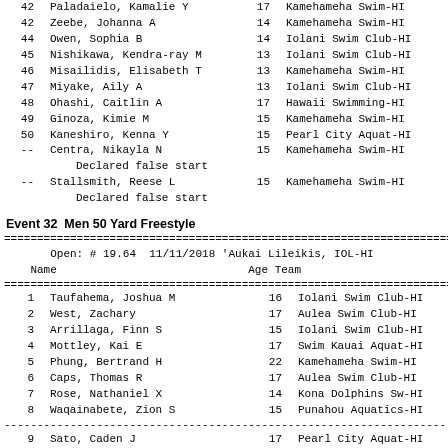| # | Name | Age | Team | Time |
| --- | --- | --- | --- | --- |
| 42 | Paladaielo, Kamalie Y | 17 | Kamehameha Swim-HI |  |
| 42 | Zeebe, Johanna A | 14 | Kamehameha Swim-HI |  |
| 44 | Owen, Sophia B | 14 | Iolani Swim Club-HI |  |
| 45 | Nishikawa, Kendra-ray M | 13 | Iolani Swim Club-HI |  |
| 46 | Misailidis, Elisabeth T | 13 | Kamehameha Swim-HI |  |
| 47 | Miyake, Aily A | 13 | Iolani Swim Club-HI |  |
| 48 | Ohashi, Caitlin A | 17 | Hawaii Swimming-HI |  |
| 49 | Ginoza, Kimie M | 15 | Kamehameha Swim-HI |  |
| 50 | Kaneshiro, Kenna Y | 15 | Pearl City Aquat-HI |  |
| -- | Centra, Nikayla N / Declared false start | 15 | Kamehameha Swim-HI |  |
| -- | Stallsmith, Reese L / Declared false start | 15 | Kamehameha Swim-HI |  |
Event 32  Men 50 Yard Freestyle
Open: # 19.64  11/11/2018 'Aukai Lileikis, IOL-HI
| # | Name | Age | Team | Time |
| --- | --- | --- | --- | --- |
| 1 | Taufahema, Joshua M | 16 | Iolani Swim Club-HI |  |
| 2 | West, Zachary | 17 | Aulea Swim Club-HI |  |
| 3 | Arrillaga, Finn S | 15 | Iolani Swim Club-HI |  |
| 4 | Mottley, Kai E | 17 | Swim Kauai Aquat-HI |  |
| 5 | Phung, Bertrand H | 22 | Kamehameha Swim-HI |  |
| 6 | Caps, Thomas R | 17 | Aulea Swim Club-HI |  |
| 7 | Rose, Nathaniel X | 14 | Kona Dolphins Sw-HI |  |
| 8 | Waqainabete, Zion S | 15 | Punahou Aquatics-HI |  |
| 9 | Sato, Caden J | 17 | Pearl City Aquat-HI |  |
| 9 | Swartwood, Blaise A | 17 | Kamehameha Swim-HI |  |
| 11 | Menter, Nolan J | 16 | Kona Aquatics Cl-HI |  |